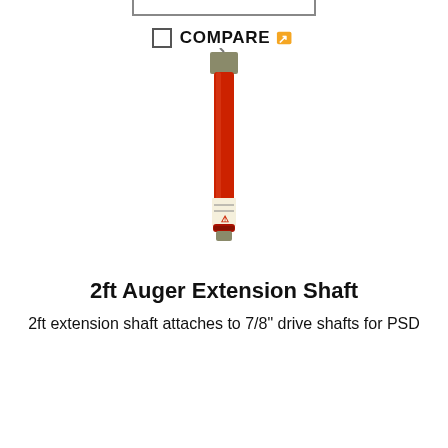[Figure (other): Top border box element — bottom portion of an input or button box, partial crop at top of page]
☐ COMPARE 🔗
[Figure (photo): A red cylindrical 2ft auger extension shaft standing vertically, with a metal square fitting at the top and a label near the bottom]
2ft Auger Extension Shaft
2ft extension shaft attaches to 7/8" drive shafts for PSD